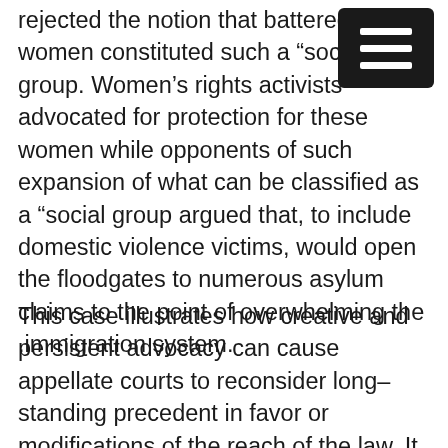rejected the notion that battered women constituted such a “social group. Women’s rights activists advocated for protection for these women while opponents of such expansion of what can be classified as a “social group argued that, to include domestic violence victims, would open the floodgates to numerous asylum claims to the point of overwhelming the .immigration system.
This case illustrates how creative and persistent advocacy can cause appellate courts to reconsider long–standing precedent in favor or modifications of the reach of the law. It should not be overlooked, however, that the evidence presented as to the failure of the local law enforcement authorities to protect Ms. Cifuentes convinced the